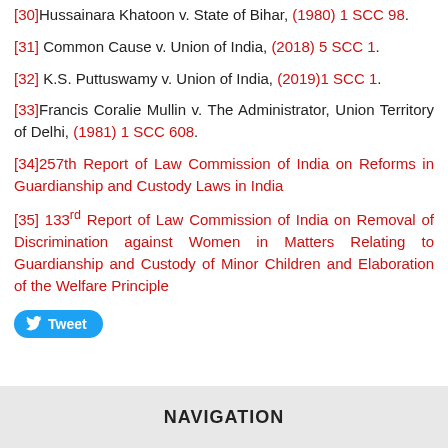[30]Hussainara Khatoon v. State of Bihar, (1980) 1 SCC 98.
[31] Common Cause v. Union of India, (2018) 5 SCC 1.
[32] K.S. Puttuswamy v. Union of India, (2019)1 SCC 1.
[33]Francis Coralie Mullin v. The Administrator, Union Territory of Delhi, (1981) 1 SCC 608.
[34]257th Report of Law Commission of India on Reforms in Guardianship and Custody Laws in India
[35] 133rd Report of Law Commission of India on Removal of Discrimination against Women in Matters Relating to Guardianship and Custody of Minor Children and Elaboration of the Welfare Principle
NAVIGATION